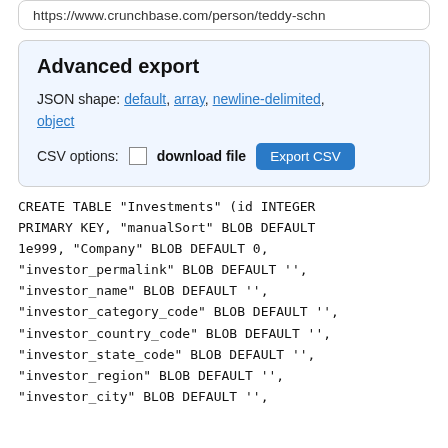https://www.crunchbase.com/person/teddy-schn
Advanced export
JSON shape: default, array, newline-delimited, object
CSV options: ☐ download file  Export CSV
CREATE TABLE "Investments" (id INTEGER PRIMARY KEY, "manualSort" BLOB DEFAULT 1e999, "Company" BLOB DEFAULT 0, "investor_permalink" BLOB DEFAULT '', "investor_name" BLOB DEFAULT '', "investor_category_code" BLOB DEFAULT '', "investor_country_code" BLOB DEFAULT '', "investor_state_code" BLOB DEFAULT '', "investor_region" BLOB DEFAULT '', "investor_city" BLOB DEFAULT '',